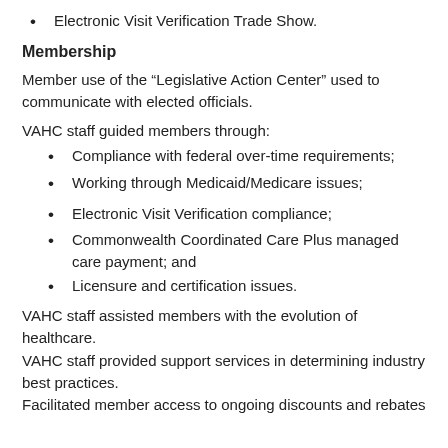Electronic Visit Verification Trade Show.
Membership
Member use of the “Legislative Action Center” used to communicate with elected officials.
VAHC staff guided members through:
Compliance with federal over-time requirements;
Working through Medicaid/Medicare issues;
Electronic Visit Verification compliance;
Commonwealth Coordinated Care Plus managed care payment; and
Licensure and certification issues.
VAHC staff assisted members with the evolution of healthcare.
VAHC staff provided support services in determining industry best practices.
Facilitated member access to ongoing discounts and rebates